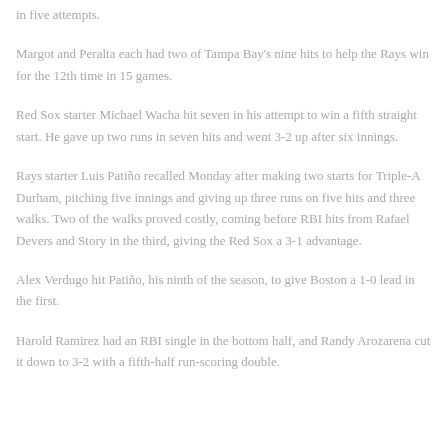in five attempts.
Margot and Peralta each had two of Tampa Bay's nine hits to help the Rays win for the 12th time in 15 games.
Red Sox starter Michael Wacha hit seven in his attempt to win a fifth straight start. He gave up two runs in seven hits and went 3-2 up after six innings.
Rays starter Luis Patiño recalled Monday after making two starts for Triple-A Durham, pitching five innings and giving up three runs on five hits and three walks. Two of the walks proved costly, coming before RBI hits from Rafael Devers and Story in the third, giving the Red Sox a 3-1 advantage.
Alex Verdugo hit Patiño, his ninth of the season, to give Boston a 1-0 lead in the first.
Harold Ramirez had an RBI single in the bottom half, and Randy Arozarena cut it down to 3-2 with a fifth-half run-scoring double.